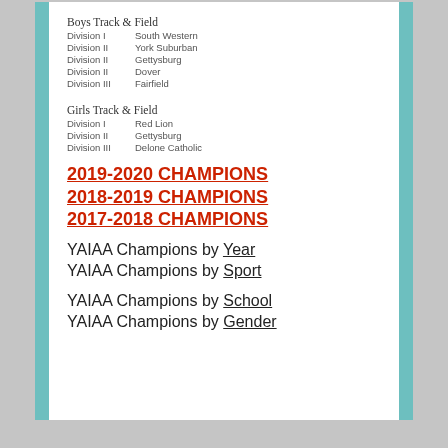Boys Track & Field
Division I    South Western
Division II   York Suburban
Division II   Gettysburg
Division II   Dover
Division III  Fairfield
Girls Track & Field
Division I    Red Lion
Division II   Gettysburg
Division III  Delone Catholic
2019-2020 CHAMPIONS
2018-2019 CHAMPIONS
2017-2018 CHAMPIONS
YAIAA Champions by Year
YAIAA Champions by Sport
YAIAA Champions by School
YAIAA Champions by Gender